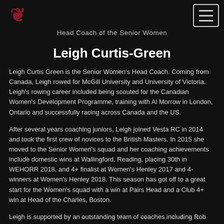Head Coach of the Senior Women
Leigh Curtis-Green
Leigh Curtis Green is the Senior Women's Head Coach. Coming from Canada, Leigh rowed for McGill University and University of Victoria. Leigh's rowing career included being scouted for the Canadian Women's Development Programme, training with Al Morrow in London, Ontario and successfully racing across Canada and the US.
After several years coaching juniors, Leigh joined Vesta RC in 2014 and took the first crew of novices to the British Masters. In 2015 she moved to the Senior Women's squad and her coaching achievements include domestic wins at Wallingford, Reading, placing 30th in WEHORR 2018, and 4+ finalist at Women's Henley 2017 and 4-winners at Women's Henley 2018. This season has got off to a great start for the Women's squad with a win at Pairs Head and a Club 4+ win at Head of the Charles, Boston.
Leigh is supported by an outstanding team of coaches including Rob Fellowes, Paul Lorenzato and Bevan Coulden.